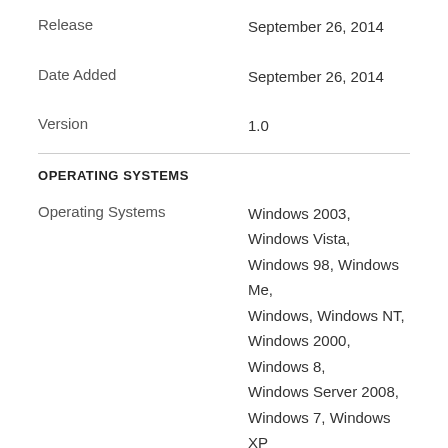| Release | September 26, 2014 |
| Date Added | September 26, 2014 |
| Version | 1.0 |
OPERATING SYSTEMS
| Operating Systems | Windows 2003, Windows Vista, Windows 98, Windows Me, Windows, Windows NT, Windows 2000, Windows 8, Windows Server 2008, Windows 7, Windows XP |
| Additional Requirements | None |
POPULARITY
| Total Downloads | 379 |